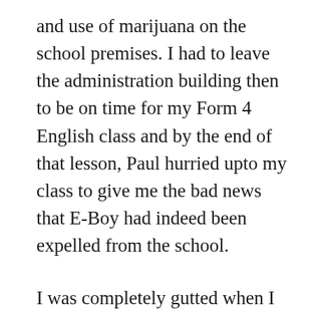and use of marijuana on the school premises. I had to leave the administration building then to be on time for my Form 4 English class and by the end of that lesson, Paul hurried upto my class to give me the bad news that E-Boy had indeed been expelled from the school.

I was completely gutted when I heard it and spent the day in deep mourning for this exceptional young man who was such a gifted learner and a real